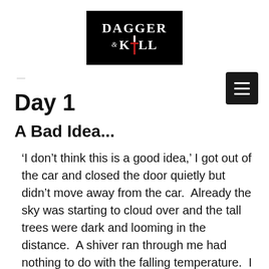[Figure (logo): Dagger & Kill logo — black rectangle with stylized white serif text reading DAGGER on top line and &KILL on bottom line, with a red dagger/sword replacing the I in KILL]
[Figure (other): Black square hamburger menu button with three white horizontal lines]
Day 1
A Bad Idea...
‘I don’t think this is a good idea,’ I got out of the car and closed the door quietly but didn’t move away from the car.  Already the sky was starting to cloud over and the tall trees were dark and looming in the distance.  A shiver ran through me had nothing to do with the falling temperature.  I reached for the tiny silver heart that hung from my bracelet, it felt warm to the touch but it